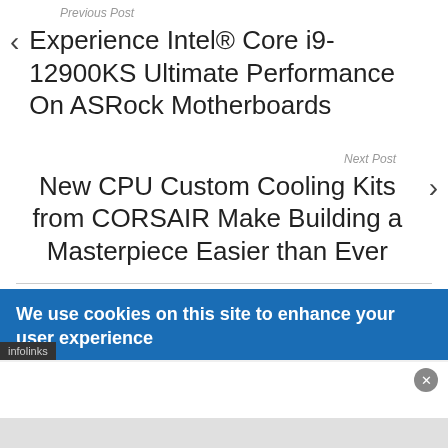Previous Post
Experience Intel® Core i9-12900KS Ultimate Performance On ASRock Motherboards
Next Post
New CPU Custom Cooling Kits from CORSAIR Make Building a Masterpiece Easier than Ever
We use cookies on this site to enhance your user experience
infolinks